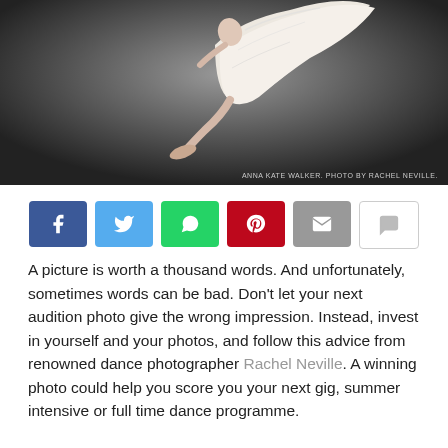[Figure (photo): Ballet dancer in white dress leaping against dark grey background, wearing pointe shoes. Photo credit: Anna Kate Walker. Photo by Rachel Neville.]
[Figure (infographic): Social sharing buttons row: Facebook (blue), Twitter (light blue), WhatsApp (green), Pinterest (red), Email (grey), Comment (white/grey border)]
A picture is worth a thousand words. And unfortunately, sometimes words can be bad. Don't let your next audition photo give the wrong impression. Instead, invest in yourself and your photos, and follow this advice from renowned dance photographer Rachel Neville. A winning photo could help you score you your next gig, summer intensive or full time dance programme.